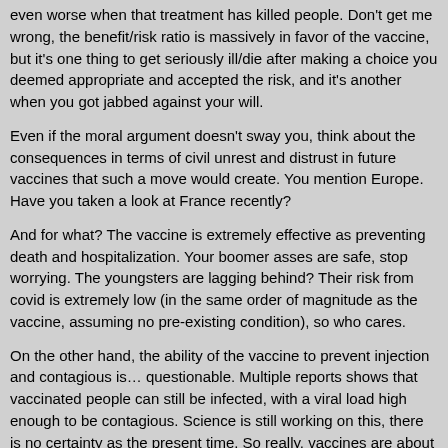even worse when that treatment has killed people. Don't get me wrong, the benefit/risk ratio is massively in favor of the vaccine, but it's one thing to get seriously ill/die after making a choice you deemed appropriate and accepted the risk, and it's another when you got jabbed against your will.
Even if the moral argument doesn't sway you, think about the consequences in terms of civil unrest and distrust in future vaccines that such a move would create. You mention Europe. Have you taken a look at France recently?
And for what? The vaccine is extremely effective as preventing death and hospitalization. Your boomer asses are safe, stop worrying. The youngsters are lagging behind? Their risk from covid is extremely low (in the same order of magnitude as the vaccine, assuming no pre-existing condition), so who cares.
On the other hand, the ability of the vaccine to prevent injection and contagious is… questionable. Multiple reports shows that vaccinated people can still be infected, with a viral load high enough to be contagious. Science is still working on this, there is no certainty as the present time. So really, vaccines are about protecting the vaccinated. If someone doesn't want the vaccine and dies from covid, that's on them, and they have a right to make that (stupid) choice.